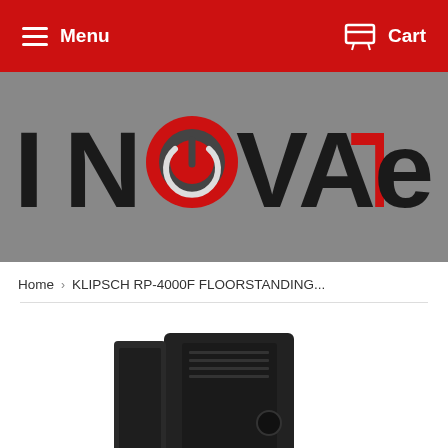Menu   Cart
[Figure (logo): INOVATE logo on grey background — bold black lettering with a red power button icon replacing the 'O', and 'TE' in red]
Home > KLIPSCH RP-4000F FLOORSTANDING...
[Figure (photo): Partial view of a black Klipsch RP-4000F floorstanding speaker at the bottom of the page]